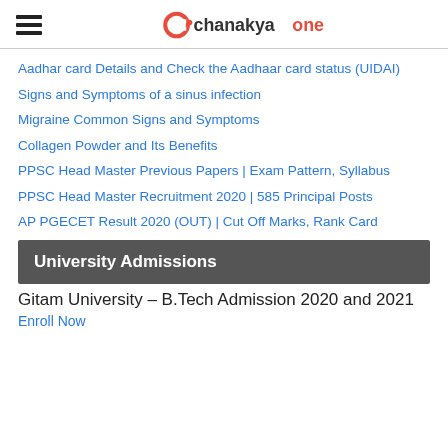chanakyaone
Aadhar card Details and Check the Aadhaar card status (UIDAI)
Signs and Symptoms of a sinus infection
Migraine Common Signs and Symptoms
Collagen Powder and Its Benefits
PPSC Head Master Previous Papers | Exam Pattern, Syllabus
PPSC Head Master Recruitment 2020 | 585 Principal Posts
AP PGECET Result 2020 (OUT) | Cut Off Marks, Rank Card
University Admissions
Gitam University – B.Tech Admission 2020 and 2021
Enroll Now